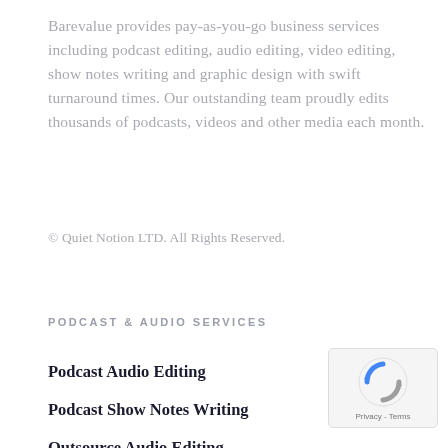Barevalue provides pay-as-you-go business services including podcast editing, audio editing, video editing, show notes writing and graphic design with swift turnaround times. Our outstanding team proudly edits thousands of podcasts, videos and other media each month.
© Quiet Notion LTD. All Rights Reserved.
PODCAST & AUDIO SERVICES
Podcast Audio Editing
Podcast Show Notes Writing
Outsource Audio Editing
Clubhouse Audio Editing
Facebook Live Audio Editing
Twitter Spaces Audio Editing
[Figure (logo): reCAPTCHA badge with Google logo and Privacy - Terms text]